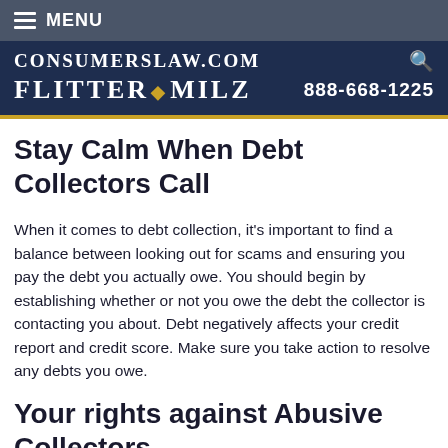☰ MENU
ConsumersLaw.com Flitter • Milz 888-668-1225
Stay Calm When Debt Collectors Call
When it comes to debt collection, it's important to find a balance between looking out for scams and ensuring you pay the debt you actually owe. You should begin by establishing whether or not you owe the debt the collector is contacting you about. Debt negatively affects your credit report and credit score. Make sure you take action to resolve any debts you owe.
Your rights against Abusive Collectors